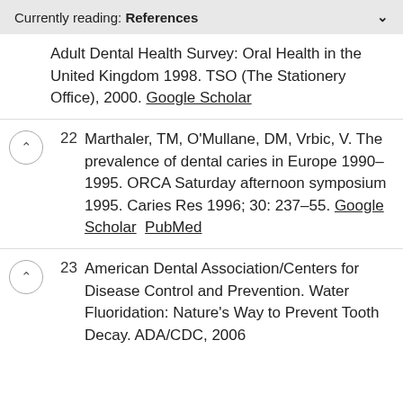Currently reading: References
Adult Dental Health Survey: Oral Health in the United Kingdom 1998. TSO (The Stationery Office), 2000. Google Scholar
22 Marthaler, TM, O'Mullane, DM, Vrbic, V. The prevalence of dental caries in Europe 1990–1995. ORCA Saturday afternoon symposium 1995. Caries Res 1996; 30: 237–55. Google Scholar  PubMed
23 American Dental Association/Centers for Disease Control and Prevention. Water Fluoridation: Nature's Way to Prevent Tooth Decay. ADA/CDC, 2006